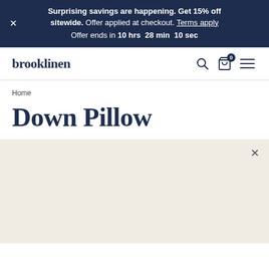Surprising savings are happening. Get 15% off sitewide. Offer applied at checkout. Terms apply Offer ends in 10 hrs 28 min 10 sec
brooklinen
Home
Down Pillow
[Figure (photo): Light beige/cream colored background panel with an X close button in the top right corner]